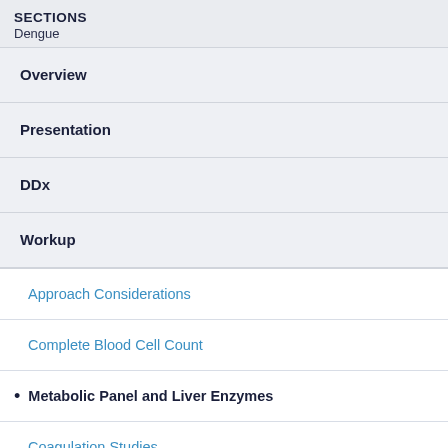SECTIONS
Dengue
Overview
Presentation
DDx
Workup
Approach Considerations
Complete Blood Cell Count
Metabolic Panel and Liver Enzymes
Coagulation Studies